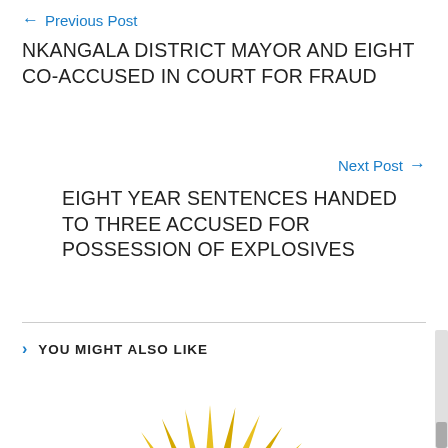← Previous Post
NKANGALA DISTRICT MAYOR AND EIGHT CO-ACCUSED IN COURT FOR FRAUD
Next Post →
EIGHT YEAR SENTENCES HANDED TO THREE ACCUSED FOR POSSESSION OF EXPLOSIVES
YOU MIGHT ALSO LIKE
[Figure (logo): South African Police Service badge/logo — yellow sunburst rays, blue circular band with text 'SOUTH AFRICAN', yellow inner circle with green and red trident/flame emblem]